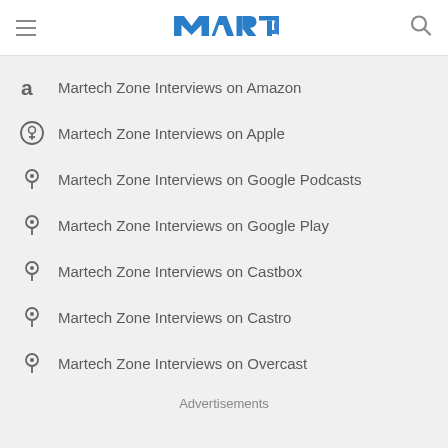Martech Zone (MTC logo)
Martech Zone Interviews on Amazon
Martech Zone Interviews on Apple
Martech Zone Interviews on Google Podcasts
Martech Zone Interviews on Google Play
Martech Zone Interviews on Castbox
Martech Zone Interviews on Castro
Martech Zone Interviews on Overcast
Advertisements
Martech Zone Interviews on Pocket Cast
Martech Zone Interviews on Radiopublic